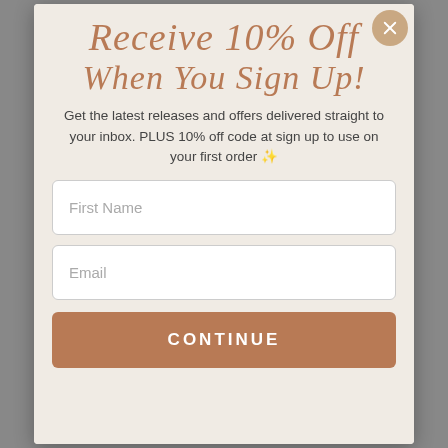Receive 10% Off When You Sign Up!
Get the latest releases and offers delivered straight to your inbox. PLUS 10% off code at sign up to use on your first order ✨
First Name
Email
CONTINUE